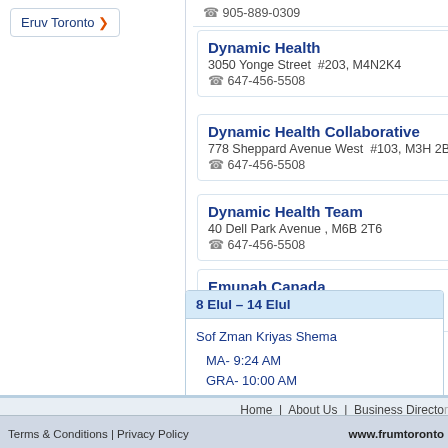Eruv Toronto →
905-889-0309
Dynamic Health
3050 Yonge Street #203, M4N2K4
☎ 647-456-5508
Dynamic Health Collaborative
778 Sheppard Avenue West #103, M3H 2B6
☎ 647-456-5508
Dynamic Health Team
40 Dell Park Avenue , M6B 2T6
☎ 647-456-5508
Emunah Canada
4600 Bathurst St # 302E-304E , M2R 3V3
☎ 416-634-2040
| 8 Elul – 14 Elul |
| --- |
| Sof Zman Kriyas Shema
MA- 9:24 AM
GRA- 10:00 AM |
| Kesuvos 60 |
Home | About Us | Business Directory | Community Calendar | Davening
Terms & Conditions | Privacy Policy    www.frumtoronto